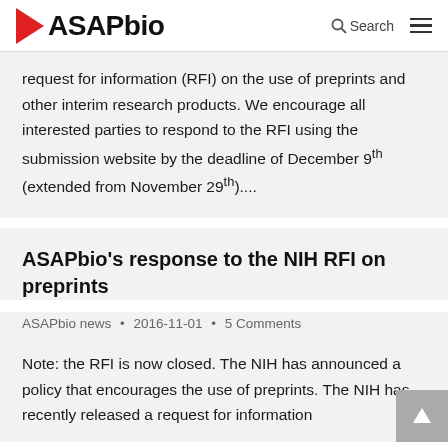ASAPbio · Search · ☰
request for information (RFI) on the use of preprints and other interim research products. We encourage all interested parties to respond to the RFI using the submission website by the deadline of December 9th (extended from November 29th)....
ASAPbio's response to the NIH RFI on preprints
ASAPbio news • 2016-11-01 • 5 Comments
Note: the RFI is now closed. The NIH has announced a policy that encourages the use of preprints. The NIH has recently released a request for information